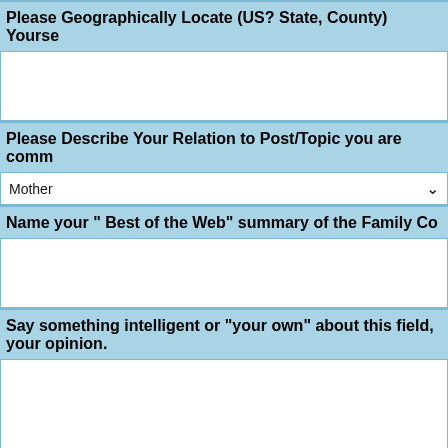Please Geographically Locate (US? State, County) Yourself
Please Describe Your Relation to Post/Topic you are commenting on
Name your " Best of the Web" summary of the Family Co
Say something intelligent or "your own" about this field, your opinion.